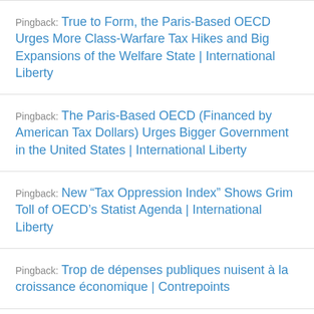Pingback: True to Form, the Paris-Based OECD Urges More Class-Warfare Tax Hikes and Big Expansions of the Welfare State | International Liberty
Pingback: The Paris-Based OECD (Financed by American Tax Dollars) Urges Bigger Government in the United States | International Liberty
Pingback: New “Tax Oppression Index” Shows Grim Toll of OECD’s Statist Agenda | International Liberty
Pingback: Trop de dépenses publiques nuisent à la croissance économique | Contrepoints